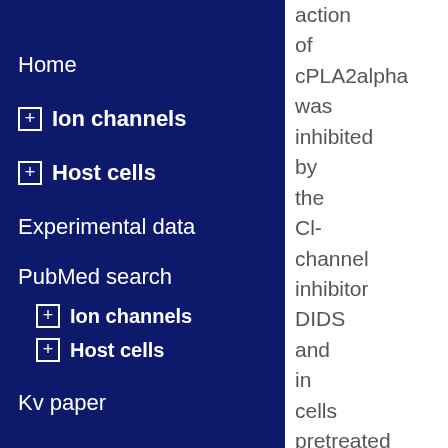Home
⊞ Ion channels
⊞ Host cells
Experimental data
PubMed search
⊞ Ion channels
⊞ Host cells
Kv paper
FAQ
Share your data
action of cPLA2alpha was inhibited by the Cl-channel inhibitor DIDS and in cells pretreated with ClC-3 Cl-